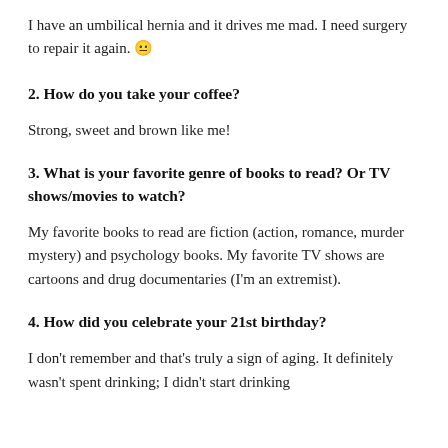I have an umbilical hernia and it drives me mad. I need surgery to repair it again. 😐
2. How do you take your coffee?
Strong, sweet and brown like me!
3. What is your favorite genre of books to read? Or TV shows/movies to watch?
My favorite books to read are fiction (action, romance, murder mystery) and psychology books. My favorite TV shows are cartoons and drug documentaries (I'm an extremist).
4. How did you celebrate your 21st birthday?
I don't remember and that's truly a sign of aging. It definitely wasn't spent drinking; I didn't start drinking